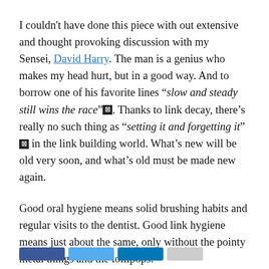I couldn't have done this piece with out extensive and thought provoking discussion with my Sensei, David Harry. The man is a genius who makes my head hurt, but in a good way. And to borrow one of his favorite lines “slow and steady still wins the race”☒. Thanks to link decay, there’s really no such thing as “setting it and forgetting it”☒ in the link building world. What’s new will be old very soon, and what’s old must be made new again.
Good oral hygiene means solid brushing habits and regular visits to the dentist. Good link hygiene means just about the same, only without the pointy metal things and the lollipops.